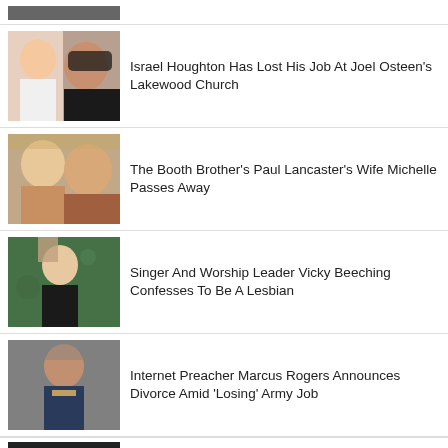[Figure (photo): Partial photo of two people at top of page (cropped)]
Israel Houghton Has Lost His Job At Joel Osteen's Lakewood Church
The Booth Brother's Paul Lancaster's Wife Michelle Passes Away
Singer And Worship Leader Vicky Beeching Confesses To Be A Lesbian
Internet Preacher Marcus Rogers Announces Divorce Amid 'Losing' Army Job
[Figure (photo): Partial photo at bottom of page (cropped)]